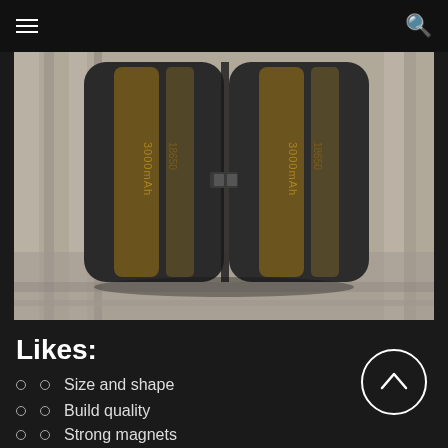≡  🔍
[Figure (photo): Top-down photograph of two cylindrical black batteries placed side by side on a weathered gray wooden surface. The batteries appear to be high-capacity cells with gold-colored text markings visible on the dark casing.]
Likes:
Size and shape
Build quality
Strong magnets